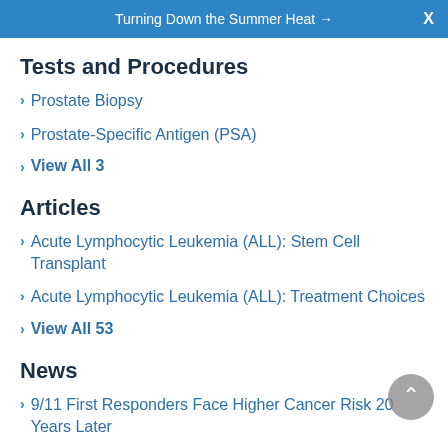Turning Down the Summer Heat →  X
Tests and Procedures
Prostate Biopsy
Prostate-Specific Antigen (PSA)
View All 3
Articles
Acute Lymphocytic Leukemia (ALL): Stem Cell Transplant
Acute Lymphocytic Leukemia (ALL): Treatment Choices
View All 53
News
9/11 First Responders Face Higher Cancer Risk 20 Years Later